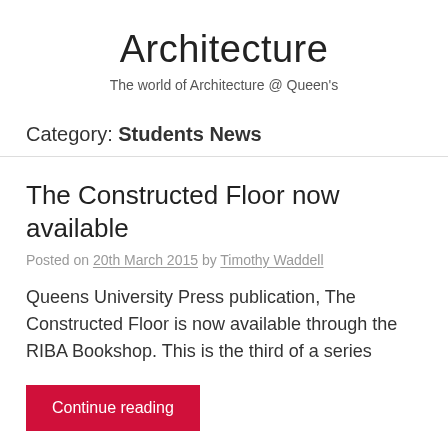Architecture
The world of Architecture @ Queen's
Category: Students News
The Constructed Floor now available
Posted on 20th March 2015 by Timothy Waddell
Queens University Press publication, The Constructed Floor is now available through the RIBA Bookshop. This is the third of a series
Continue reading